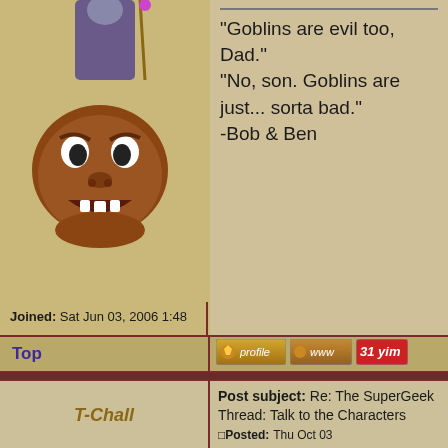[Figure (illustration): Forum avatar showing a cartoon troll/goblin face - round brown angry face with teeth, situated below a robed figure at top]
Joined: Sat Jun 03, 2006 1:48 pm
Posts: 2188
Location: Halifax
"Goblins are evil too, Dad."
"No, son. Goblins are just... sorta bad."
-Bob & Ben
Top
[Figure (screenshot): Profile button - golden colored button with 'profile' text in italic]
[Figure (screenshot): WWW button - brown colored button with 'www' text]
[Figure (screenshot): YIM button - red colored button with 'yim' text]
T-Chall
Post subject: Re: The SuperGeek Thread: Talk to the Characters
Posted: Thu Oct 03